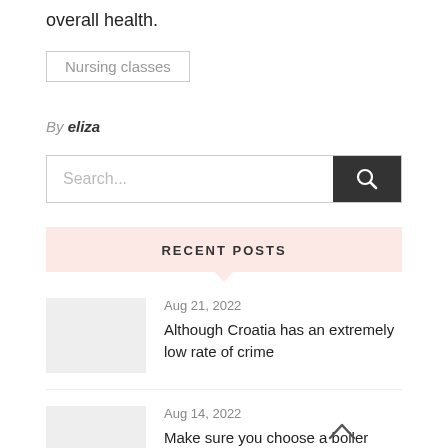overall health.
Nursing classes
By eliza
Search...
RECENT POSTS
Aug 21, 2022
Although Croatia has an extremely low rate of crime
Aug 14, 2022
Make sure you choose a boiler expert that has a full list